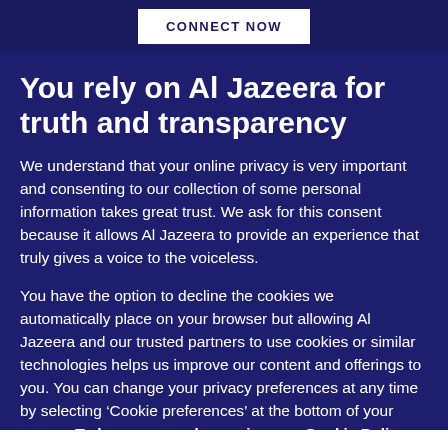CONNECT NOW
You rely on Al Jazeera for truth and transparency
We understand that your online privacy is very important and consenting to our collection of some personal information takes great trust. We ask for this consent because it allows Al Jazeera to provide an experience that truly gives a voice to the voiceless.
You have the option to decline the cookies we automatically place on your browser but allowing Al Jazeera and our trusted partners to use cookies or similar technologies helps us improve our content and offerings to you. You can change your privacy preferences at any time by selecting ‘Cookie preferences’ at the bottom of your screen. To learn more, please view our Cookie Policy.